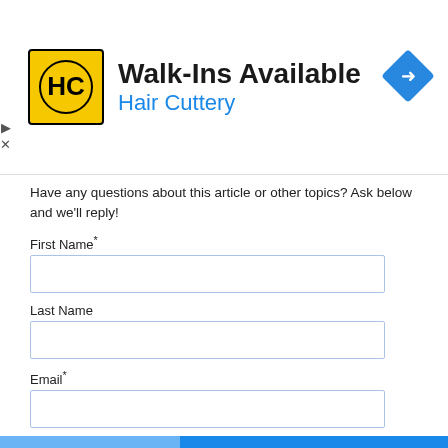[Figure (screenshot): Hair Cuttery advertisement banner with yellow logo, title 'Walk-Ins Available', subtitle 'Hair Cuttery' in blue, and a blue navigation diamond icon on the right.]
Have any questions about this article or other topics? Ask below and we'll reply!
First Name*
Last Name
Email*
Comment*
Submit Comment